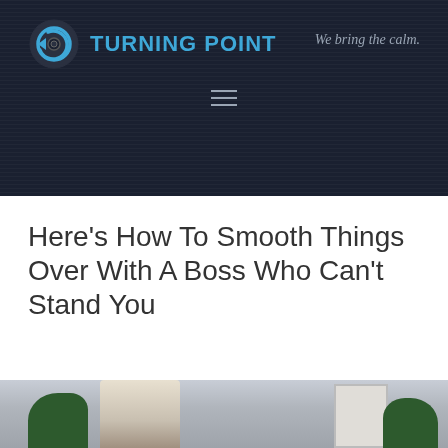[Figure (logo): Turning Point logo with circular arrow icon in blue tones and tagline 'We bring the calm.' on dark navy background with hamburger menu icon]
Here's How To Smooth Things Over With A Boss Who Can't Stand You
[Figure (photo): A blonde woman with glasses gesturing in an office setting with plants and a flipchart]